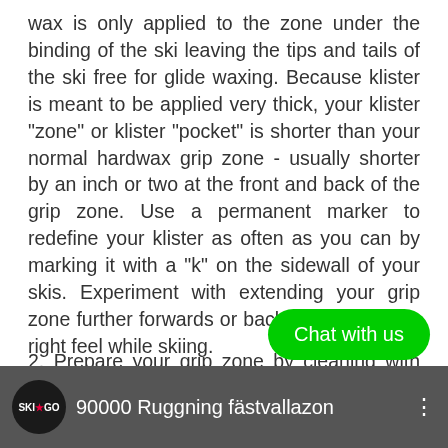wax is only applied to the zone under the binding of the ski leaving the tips and tails of the ski free for glide waxing. Because klister is meant to be applied very thick, your klister "zone" or klister "pocket" is shorter than your normal hardwax grip zone - usually shorter by an inch or two at the front and back of the grip zone. Use a permanent marker to redefine your klister as often as you can by marking it with a "k" on the sidewall of your skis. Experiment with extending your grip zone further forwards or backward to find the right feel while skiing.
2. Prepare your grip zone by cleaning with wax remover and roughing with sandpaper.
[Figure (screenshot): Video thumbnail bar showing SKI*GO logo and text '90000 Ruggning fästvallazon' with three-dot menu icon, with a green 'Chat with us' button overlay]